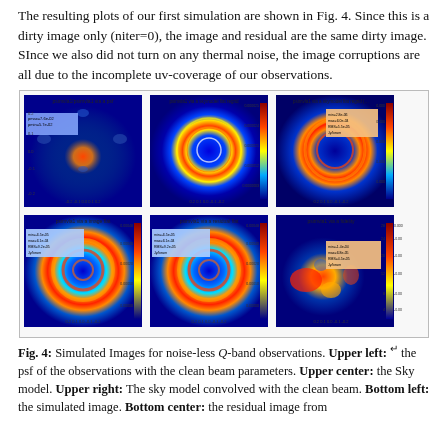The resulting plots of our first simulation are shown in Fig. 4. Since this is a dirty image only (niter=0), the image and residual are the same dirty image. SInce we also did not turn on any thermal noise, the image corruptions are all due to the incomplete uv-coverage of our observations.
[Figure (other): Six false-color astronomical simulation panels arranged in 2 rows of 3. Top row: psimvla1/psimvla1 via a psf (blue/red PSF image), psimvla1 via a skymodel flat regrid (colorful ring spiral), psimvla1 via a skymodel flat regrid (smooth ring). Bottom row: psimvla1 via a image flat (simulated image with rings), psimvla1 via a residual flat (residual image), psimvla1 via a fidelity (fidelity map). Each panel has axis labels and colorbar with min/max/RMS annotations.]
Fig. 4: Simulated Images for noise-less Q-band observations. Upper left: the psf of the observations with the clean beam parameters. Upper center: the Sky model. Upper right: The sky model convolved with the clean beam. Bottom left: the simulated image. Bottom center: the residual image from